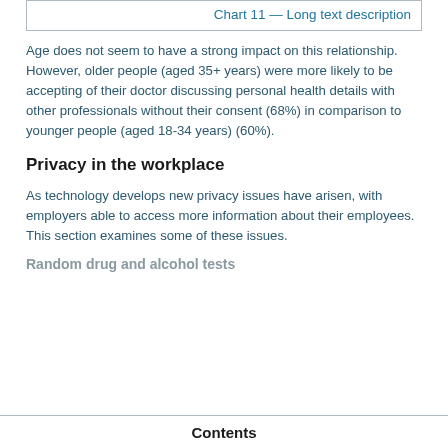Chart 11 — Long text description
Age does not seem to have a strong impact on this relationship. However, older people (aged 35+ years) were more likely to be accepting of their doctor discussing personal health details with other professionals without their consent (68%) in comparison to younger people (aged 18-34 years) (60%).
Privacy in the workplace
As technology develops new privacy issues have arisen, with employers able to access more information about their employees. This section examines some of these issues.
Random drug and alcohol tests
Contents